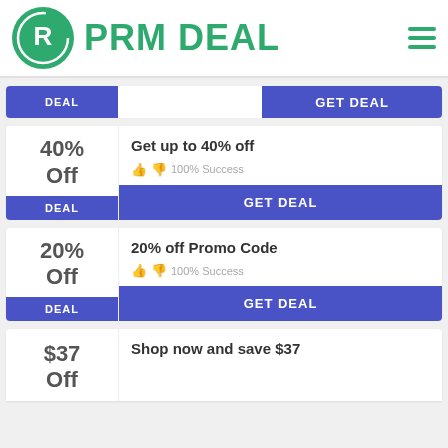PRM DEAL
[Figure (screenshot): PRM Deal website screenshot showing deal cards with discount offers]
DEAL  GET DEAL
40% Off - Get up to 40% off - 100% Success - GET DEAL
20% Off - 20% off Promo Code - 100% Success - GET DEAL
$37 Off - Shop now and save $37